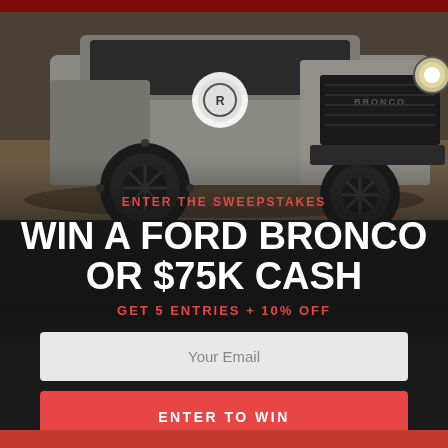[Figure (photo): A gray Ford Bronco off-road vehicle with black wheels and 'BRONCO' branding on the front grille, photographed outdoors on sandy terrain with a dark background.]
ENTER THE SWEEPSTAKES
WIN A FORD BRONCO OR $75K CASH
GET 5 ENTRIES + 10% OFF
Your Email
ENTER TO WIN
No Thanks